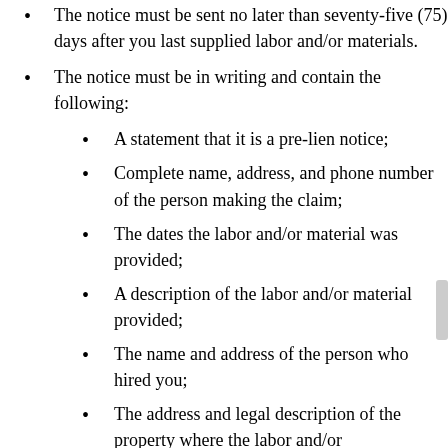The notice must be sent no later than seventy-five (75) days after you last supplied labor and/or materials.
The notice must be in writing and contain the following:
A statement that it is a pre-lien notice;
Complete name, address, and phone number of the person making the claim;
The dates the labor and/or material was provided;
A description of the labor and/or material provided;
The name and address of the person who hired you;
The address and legal description of the property where the labor and/or